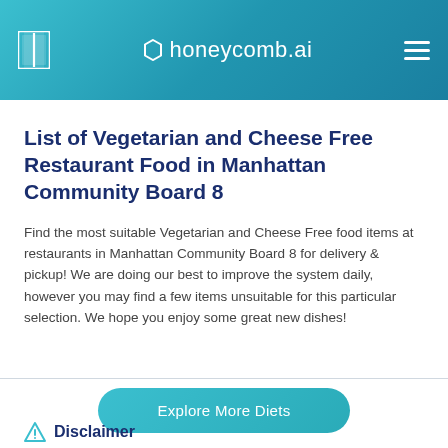honeycomb.ai
List of Vegetarian and Cheese Free Restaurant Food in Manhattan Community Board 8
Find the most suitable Vegetarian and Cheese Free food items at restaurants in Manhattan Community Board 8 for delivery & pickup! We are doing our best to improve the system daily, however you may find a few items unsuitable for this particular selection. We hope you enjoy some great new dishes!
Explore More Diets
Disclaimer